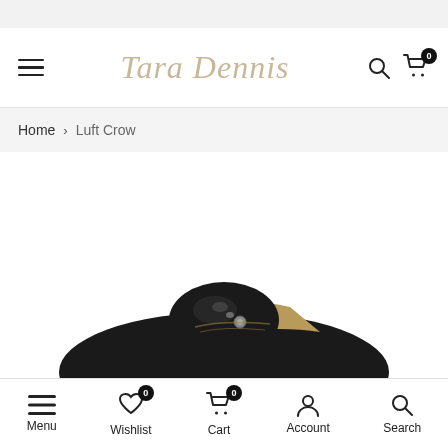Tara Dennis — Header navigation with menu, logo, search, cart
Home > Luft Crow
[Figure (photo): Product photo: top portion of a designer shoe/product in black and gold/tan coloring, partially visible at bottom of viewport]
Menu | Wishlist 0 | Cart 0 | Account | Search